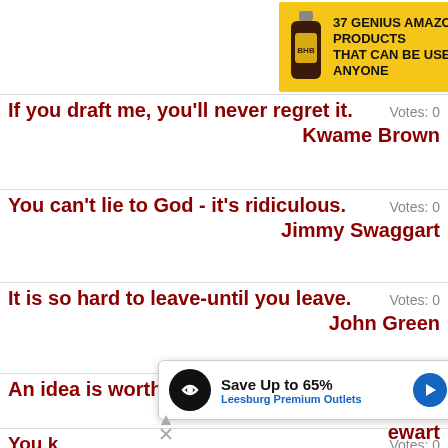[Figure (screenshot): Advertisement banner for '37 Genius Amazon Products That Can Be Used By Anyone' with product bottle image and '22 Words' badge on yellow background]
If you draft me, you'll never regret it.  Votes: 0
Kwame Brown
You can't lie to God - it's ridiculous.  Votes: 0
Jimmy Swaggart
It is so hard to leave-until you leave.  Votes: 0
John Green
An idea is worthless unless you use it.  Votes: 0
John C. Maxwell
You k[nowing you love someone...]  Votes: 0
...ewart
[Figure (screenshot): Overlay advertisement: Save Up to 65% - Leesburg Premium Outlets, with navigation arrow icon]